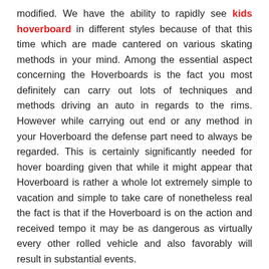modified. We have the ability to rapidly see kids hoverboard in different styles because of that this time which are made cantered on various skating methods in your mind. Among the essential aspect concerning the Hoverboards is the fact you most definitely can carry out lots of techniques and methods driving an auto in regards to the rims. However while carrying out end or any method in your Hoverboard the defense part need to always be regarded. This is certainly significantly needed for hover boarding given that while it might appear that Hoverboard is rather a whole lot extremely simple to vacation and simple to take care of nonetheless real the fact is that if the Hoverboard is on the action and received tempo it may be as dangerous as virtually every other rolled vehicle and also favorably will result in substantial events.
As mentioned there are actually types and also several types of Hoverboards when it come to the skating method you have in your mind. In this reverence the tag from the normal hover panels which are short